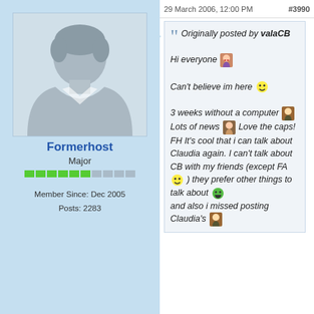[Figure (illustration): Default user avatar silhouette placeholder image on light blue background]
Formerhost
Major
Member Since: Dec 2005
Posts: 2283
29 March 2006, 12:00 PM   #3990
Originally posted by valaCB

Hi everyone

Can't believe im here

3 weeks without a computer

Lots of news Love the caps! FH It's cool that i can talk about Claudia again. I can't talk about CB with my friends (except FA ) they prefer other things to talk about and also i missed posting Claudia's